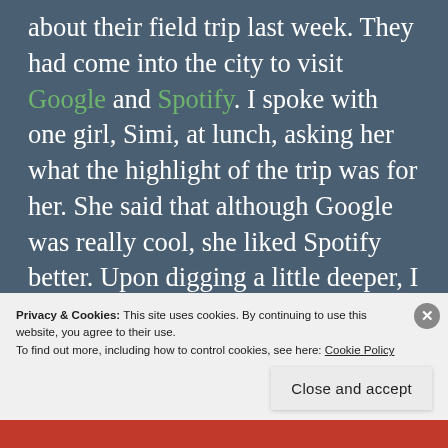about their field trip last week. They had come into the city to visit Google and Spotify. I spoke with one girl, Simi, at lunch, asking her what the highlight of the trip was for her. She said that although Google was really cool, she liked Spotify better. Upon digging a little deeper, I discovered that it was because that, while Google had a tour and demo (which was cut short because the group had arrived from Stamford late due to traffic), Spotify had a panel of five women in technical roles. I think this is one of the best formats for the girls – they get to see people like them doing
Privacy & Cookies: This site uses cookies. By continuing to use this website, you agree to their use.
To find out more, including how to control cookies, see here: Cookie Policy
Close and accept